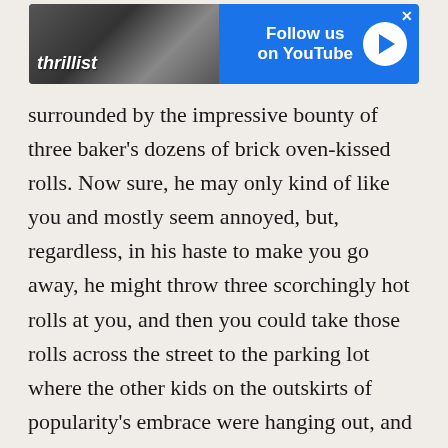[Figure (screenshot): Thrillist advertisement banner with 'Follow us on YouTube' call to action, featuring a close-up photo of a person and a play button on blue background]
surrounded by the impressive bounty of three baker's dozens of brick oven-kissed rolls. Now sure, he may only kind of like you and mostly seem annoyed, but, regardless, in his haste to make you go away, he might throw three scorchingly hot rolls at you, and then you could take those rolls across the street to the parking lot where the other kids on the outskirts of popularity's embrace were hanging out, and share the still-so-hot rolls, and laugh and cry and know that someday life will be more complicated and messy, but right now you have these really hot rolls which you got for free and you better enjoy them quickly, because Manny has a pretty strict policy against bringing outside food